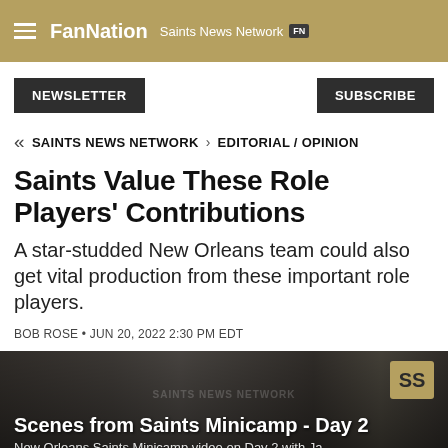FanNation Saints News Network FN
NEWSLETTER
SUBSCRIBE
« SAINTS NEWS NETWORK > EDITORIAL / OPINION
Saints Value These Role Players' Contributions
A star-studded New Orleans team could also get vital production from these important role players.
BOB ROSE • JUN 20, 2022 2:30 PM EDT
[Figure (screenshot): Video thumbnail showing Saints Minicamp scenes with title 'Scenes from Saints Minicamp - Day 2' and subtitle 'New Orleans Saints Minicamp video on Day 2 with Ja...']